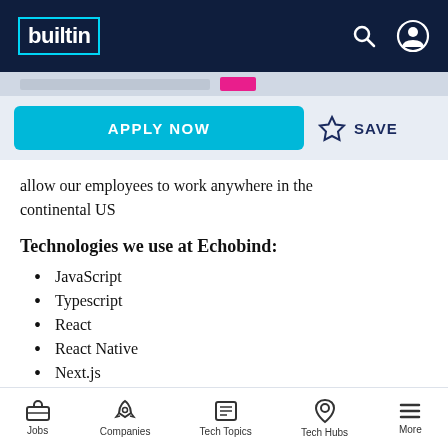builtin — navigation header with search and user icons
allow our employees to work anywhere in the continental US
Technologies we use at Echobind:
JavaScript
Typescript
React
React Native
Next.js
Ruby on Rails
Jobs | Companies | Tech Topics | Tech Hubs | More